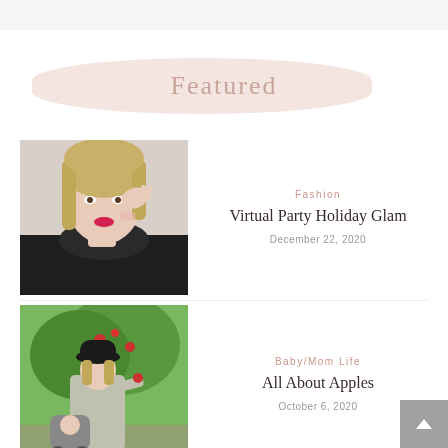Featured
Fashion
Virtual Party Holiday Glam
December 22, 2020
[Figure (photo): Blonde woman with red lipstick touching her hair, wearing a dark top]
Baby/Mom Life
All About Apples
October 6, 2020
[Figure (photo): Woman with black hat and child near apple trees outdoors]